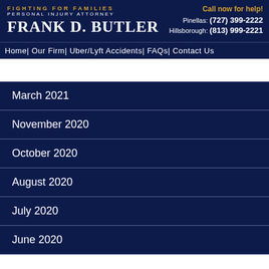[Figure (logo): Frank D. Butler law firm logo with 'Fighting for Families Personal Injury Attorney' tagline and contact numbers]
Home | Our Firm | Uber/Lyft Accidents | FAQs | Contact Us
March 2021
November 2020
October 2020
August 2020
July 2020
June 2020